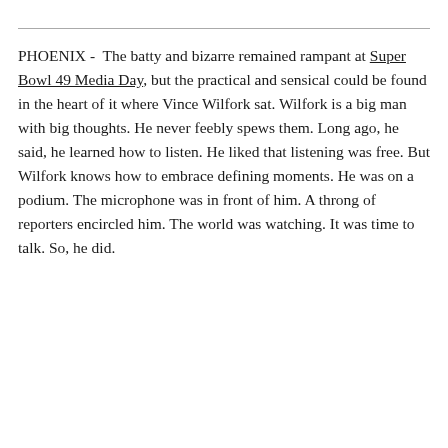PHOENIX - The batty and bizarre remained rampant at Super Bowl 49 Media Day, but the practical and sensical could be found in the heart of it where Vince Wilfork sat. Wilfork is a big man with big thoughts. He never feebly spews them. Long ago, he said, he learned how to listen. He liked that listening was free. But Wilfork knows how to embrace defining moments. He was on a podium. The microphone was in front of him. A throng of reporters encircled him. The world was watching. It was time to talk. So, he did.